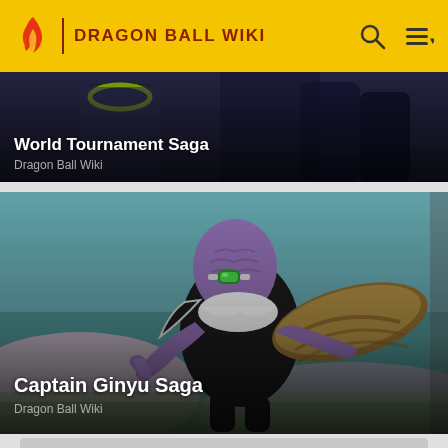DRAGON BALL WIKI
[Figure (screenshot): World Tournament Saga card with anime characters in background]
World Tournament Saga
Dragon Ball Wiki
[Figure (screenshot): Captain Ginyu Saga card featuring Captain Ginyu character in armor]
Captain Ginyu Saga
Dragon Ball Wiki